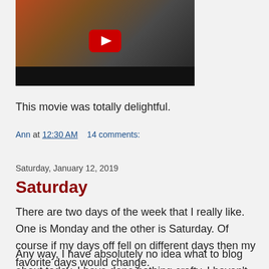[Figure (screenshot): YouTube video thumbnail showing a person in a brown shirt with the YouTube play button overlay and a black control bar at the bottom. Background has orange/brown tones.]
This movie was totally delightful.
Ann at 12:30 AM    14 comments:
Saturday, January 12, 2019
Saturday
There are two days of the week that I really like. One is Monday and the other is Saturday. Of course if my days off fell on different days then my favorite days would change.
Any way, I have absolutely no idea what to blog about today. I have done nothing crafty, I haven't gone anywhere interesting and life has been rather boring.